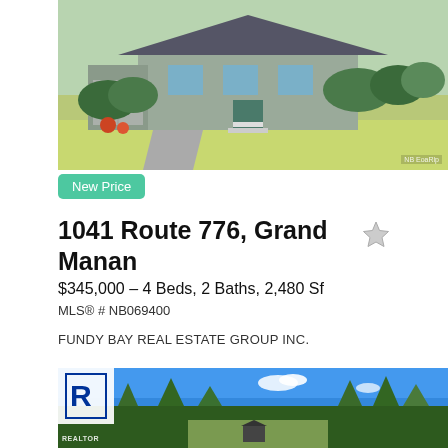[Figure (photo): Exterior photo of a single-story residential house with gray roof, green hedges, landscaped front yard with green lawn, flowers, and mature trees. Watermark 'NB EoaRlp' in bottom right corner.]
New Price
1041 Route 776, Grand Manan
$345,000 – 4 Beds, 2 Baths, 2,480 Sf
MLS® # NB069400
FUNDY BAY REAL ESTATE GROUP INC.
[Figure (photo): Aerial drone photo of a rural property with a small dark-roofed structure in an open field, surrounded by dense green forest and trees under a bright blue sky with a few white clouds. REALTOR logo in top left corner.]